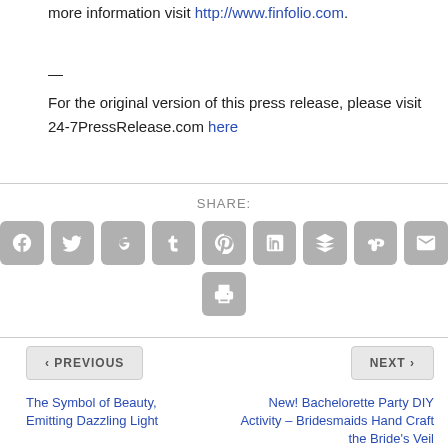more information visit http://www.finfolio.com.
—
For the original version of this press release, please visit 24-7PressRelease.com here
[Figure (infographic): SHARE section with social media icon buttons: Facebook, Twitter, Google+, Tumblr, Pinterest, LinkedIn, Buffer, StumbleUpon, Email, and Print]
< PREVIOUS
NEXT >
The Symbol of Beauty, Emitting Dazzling Light
New! Bachelorette Party DIY Activity – Bridesmaids Hand Craft the Bride's Veil